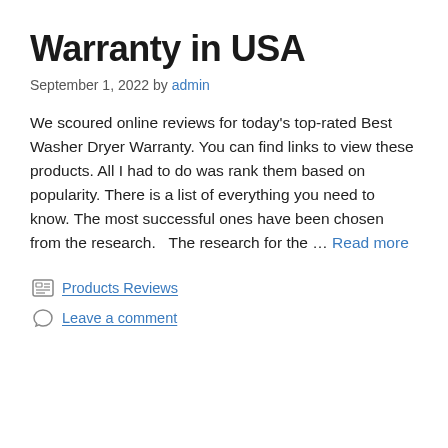Warranty in USA
September 1, 2022 by admin
We scoured online reviews for today's top-rated Best Washer Dryer Warranty. You can find links to view these products. All I had to do was rank them based on popularity. There is a list of everything you need to know. The most successful ones have been chosen from the research.   The research for the … Read more
Products Reviews
Leave a comment